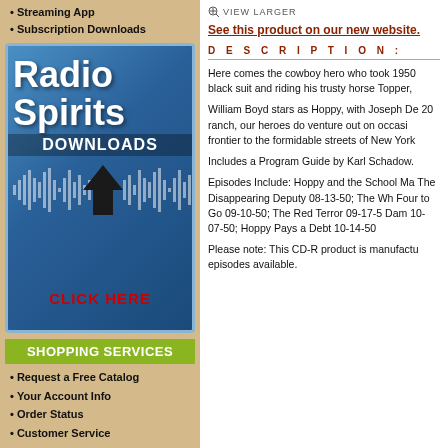• Streaming App
• Subscription Downloads
[Figure (logo): Radio Spirits Downloads logo with blue gradient background, waveform graphic, download arrow, and CLICK HERE text in red]
SHOPPING SERVICES
• Request a Free Catalog
• Your Account Info
• Order Status
• Customer Service
VIEW LARGER
See this product on our new website.
DESCRIPTION:
Here comes the cowboy hero who took 1950 black suit and riding his trusty horse Topper,
William Boyd stars as Hoppy, with Joseph De 20 ranch, our heroes do venture out on occasi frontier to the formidable streets of New York
Includes a Program Guide by Karl Schadow.
Episodes Include: Hoppy and the School Ma The Disappearing Deputy 08-13-50; The Wh Four to Go 09-10-50; The Red Terror 09-17-5 Dam 10-07-50; Hoppy Pays a Debt 10-14-50
Please note: This CD-R product is manufactu episodes available.